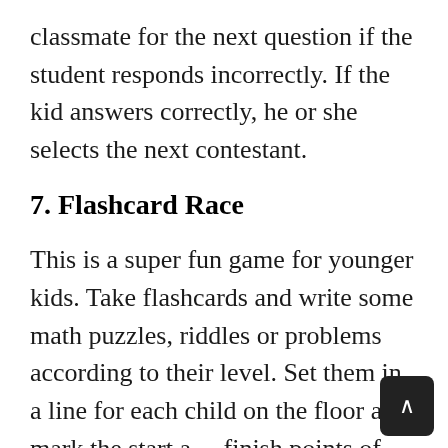classmate for the next question if the student responds incorrectly. If the kid answers correctly, he or she selects the next contestant.
7. Flashcard Race
This is a super fun game for younger kids. Take flashcards and write some math puzzles, riddles or problems according to their level. Set them in a line for each child on the floor and mark the start and finish points of the race. Kids start from the starting point and solve the